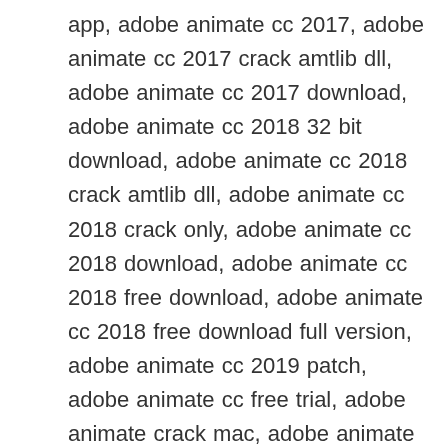app, adobe animate cc 2017, adobe animate cc 2017 crack amtlib dll, adobe animate cc 2017 download, adobe animate cc 2018 32 bit download, adobe animate cc 2018 crack amtlib dll, adobe animate cc 2018 crack only, adobe animate cc 2018 download, adobe animate cc 2018 free download, adobe animate cc 2018 free download full version, adobe animate cc 2019 patch, adobe animate cc free trial, adobe animate crack mac, adobe animate cs6, adobe animate cs6 crack free download, adobe animate portable 32 bit, adobe animate price, adobe animate price adobe animate cc 2018 download, adobe animate vs after effects, adobe animate windows 10, adobe flash animation